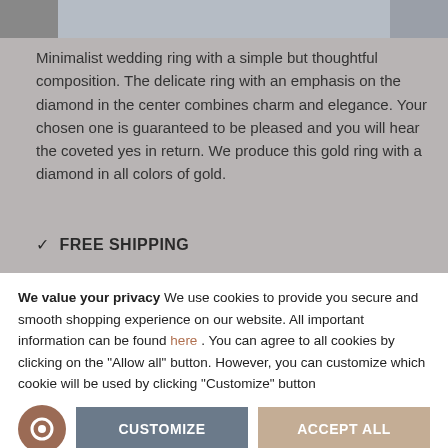[Figure (photo): Partial view of a wedding ring product photo at top of page]
Minimalist wedding ring with a simple but thoughtful composition. The delicate ring with an emphasis on the diamond in the center combines charm and elegance. Your chosen one is guaranteed to be pleased and you will hear the coveted yes in return. We produce this gold ring with a diamond in all colors of gold.
✓ FREE SHIPPING
✓ LUXURY BOX
✓ RESIZING FOR FREE
We value your privacy We use cookies to provide you secure and smooth shopping experience on our website. All important information can be found here . You can agree to all cookies by clicking on the "Allow all" button. However, you can customize which cookie will be used by clicking "Customize" button